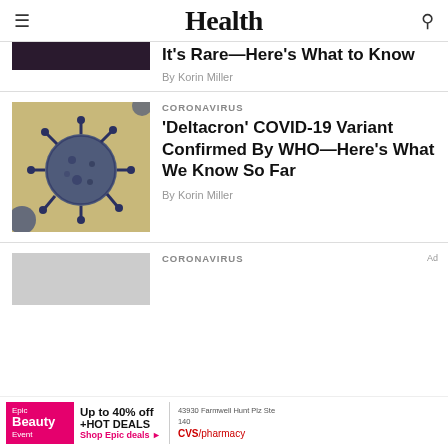Health
It's Rare—Here's What to Know
By Korin Miller
CORONAVIRUS
'Deltacron' COVID-19 Variant Confirmed By WHO—Here's What We Know So Far
By Korin Miller
CORONAVIRUS
[Figure (photo): Illustration of coronavirus particle on golden/yellow background]
[Figure (photo): Gray placeholder image for third article]
Ad
Epic Beauty Event — Up to 40% off +HOT DEALS — Shop Epic deals
43930 Farmwell Hunt Plz Ste 140 — CVS/pharmacy